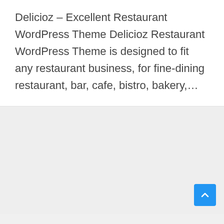Delicioz – Excellent Restaurant WordPress Theme Delicioz Restaurant WordPress Theme is designed to fit any restaurant business, for fine-dining restaurant, bar, cafe, bistro, bakery,…